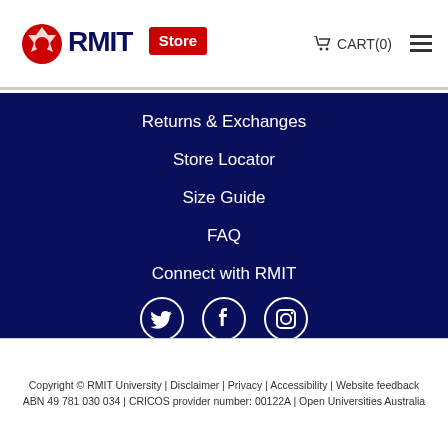[Figure (logo): RMIT Store logo — RMIT wordmark in dark navy with a red 'Store' badge and red diamond/gear icon to left]
CART(0)
Returns & Exchanges
Store Locator
Size Guide
FAQ
Connect with RMIT
[Figure (illustration): Three social media icons in white circles on dark navy background: Twitter bird, Facebook F, Instagram camera]
Copyright © RMIT University | Disclaimer | Privacy | Accessibility | Website feedback
ABN 49 781 030 034 | CRICOS provider number: 00122A | Open Universities Australia